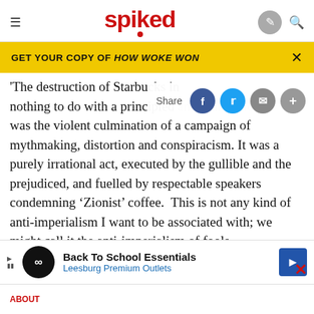spiked
GET YOUR COPY OF HOW WOKE WON
The destruction of Starbucks in nothing to do with a principled anti-war stance; it was the violent culmination of a campaign of mythmaking, distortion and conspiracism. It was a purely irrational act, executed by the gullible and the prejudiced, and fuelled by respectable speakers condemning ‘Zionist’ coffee. This is not any kind of anti-imperialism I want to be associated with; we might call it the anti-imperialism of fools.
Back To School Essentials
Leesburg Premium Outlets
ABOUT